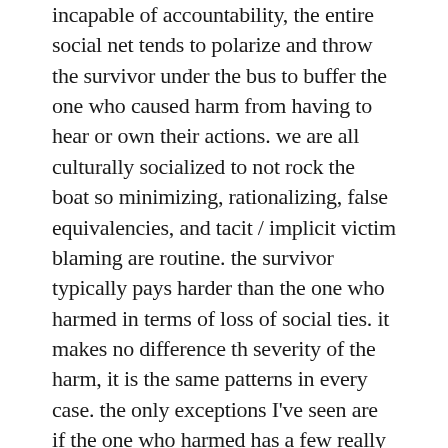incapable of accountability, the entire social net tends to polarize and throw the survivor under the bus to buffer the one who caused harm from having to hear or own their actions. we are all culturally socialized to not rock the boat so minimizing, rationalizing, false equivalencies, and tacit / implicit victim blaming are routine. the survivor typically pays harder than the one who harmed in terms of loss of social ties. it makes no difference th severity of the harm, it is the same patterns in every case. the only exceptions I've seen are if the one who harmed has a few really really experienced transformative justice